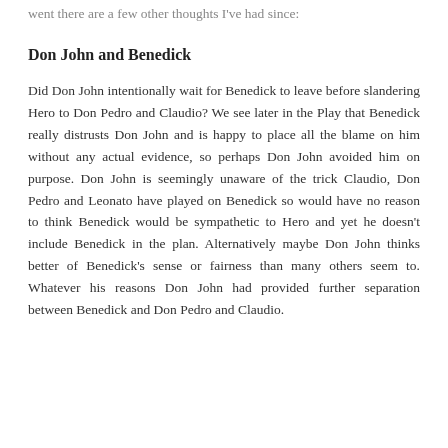went there are a few other thoughts I've had since:
Don John and Benedick
Did Don John intentionally wait for Benedick to leave before slandering Hero to Don Pedro and Claudio? We see later in the Play that Benedick really distrusts Don John and is happy to place all the blame on him without any actual evidence, so perhaps Don John avoided him on purpose. Don John is seemingly unaware of the trick Claudio, Don Pedro and Leonato have played on Benedick so would have no reason to think Benedick would be sympathetic to Hero and yet he doesn't include Benedick in the plan. Alternatively maybe Don John thinks better of Benedick's sense or fairness than many others seem to. Whatever his reasons Don John had provided further separation between Benedick and Don Pedro and Claudio.